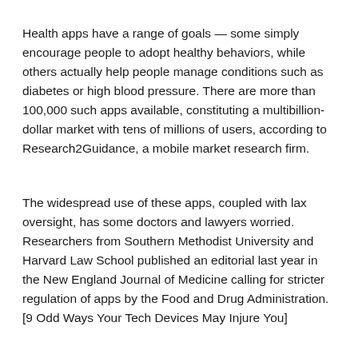Health apps have a range of goals — some simply encourage people to adopt healthy behaviors, while others actually help people manage conditions such as diabetes or high blood pressure. There are more than 100,000 such apps available, constituting a multibillion-dollar market with tens of millions of users, according to Research2Guidance, a mobile market research firm.
The widespread use of these apps, coupled with lax oversight, has some doctors and lawyers worried. Researchers from Southern Methodist University and Harvard Law School published an editorial last year in the New England Journal of Medicine calling for stricter regulation of apps by the Food and Drug Administration. [9 Odd Ways Your Tech Devices May Injure You]